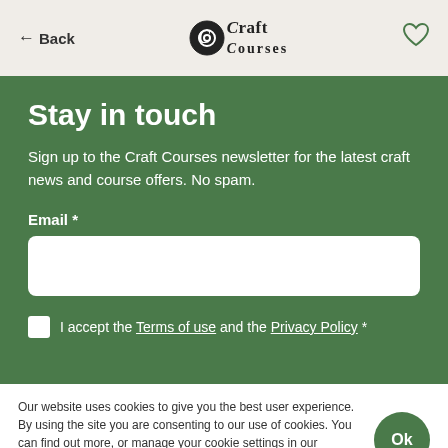← Back | Craft Courses | ♡
Stay in touch
Sign up to the Craft Courses newsletter for the latest craft news and course offers. No spam.
Email *
I accept the Terms of use and the Privacy Policy *
Our website uses cookies to give you the best user experience. By using the site you are consenting to our use of cookies. You can find out more, or manage your cookie settings in our Privacy Policy